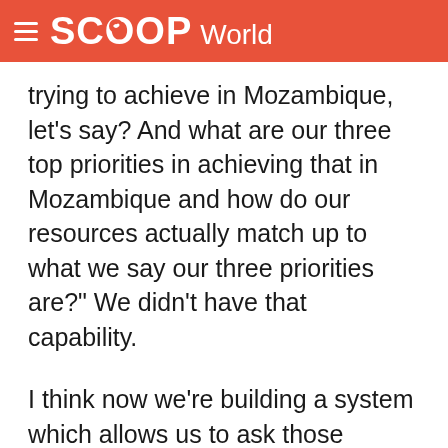SCOOP World
trying to achieve in Mozambique, let's say? And what are our three top priorities in achieving that in Mozambique and how do our resources actually match up to what we say our three priorities are?" We didn't have that capability.
I think now we're building a system which allows us to ask those questions, allows us to better target our foreign assistance, because we have had dramatic increases in foreign assistance in this administration, we've doubled official development assistance. We now have a real obligation to make sure that that money is being spent against certain objectives and that over time those objectives are being met. And one